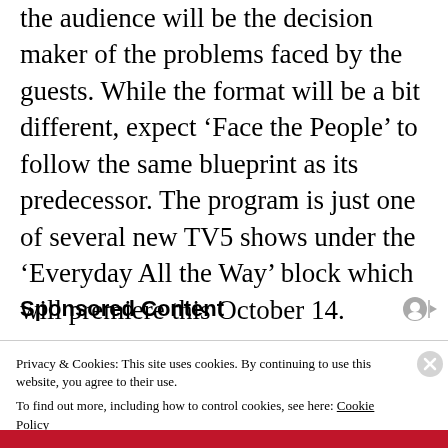the audience will be the decision maker of the problems faced by the guests. While the format will be a bit different, expect ‘Face the People’ to follow the same blueprint as its predecessor. The program is just one of several new TV5 shows under the ‘Everyday All the Way’ block which will premiere this October 14.
Sponsored Content
Privacy & Cookies: This site uses cookies. By continuing to use this website, you agree to their use.
To find out more, including how to control cookies, see here: Cookie Policy
Close and accept